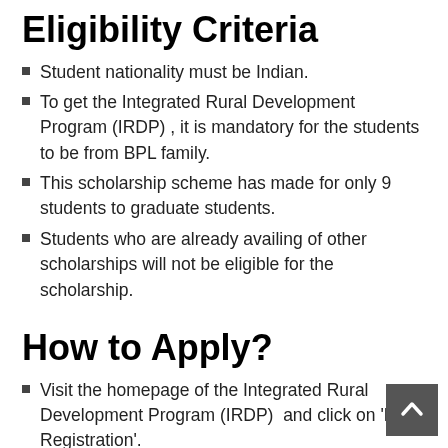Eligibility Criteria
Student nationality must be Indian.
To get the Integrated Rural Development Program (IRDP) , it is mandatory for the students to be from BPL family.
This scholarship scheme has made for only 9 students to graduate students.
Students who are already availing of other scholarships will not be eligible for the scholarship.
How to Apply?
Visit the homepage of the Integrated Rural Development Program (IRDP)  and click on ‘New Registration’.
For admission, all the students who desire to be involved in this exam will have to generate an account and can fill the application form on the official website.